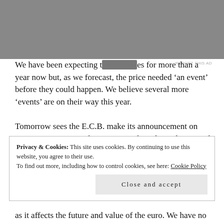We have been expecting these for more than a year now but, as we forecast, the price needed ‘an event’ before they could happen. We believe several more ‘events’ are on their way this year.

Tomorrow sees the E.C.B. make its announcement on quantitative easing. This appears to have been discounted already as the euro appears to have stabilized in preparation for the announcement. Only if the
Privacy & Cookies: This site uses cookies. By continuing to use this website, you agree to their use.
To find out more, including how to control cookies, see here: Cookie Policy
as it affects the future and value of the euro. We have no